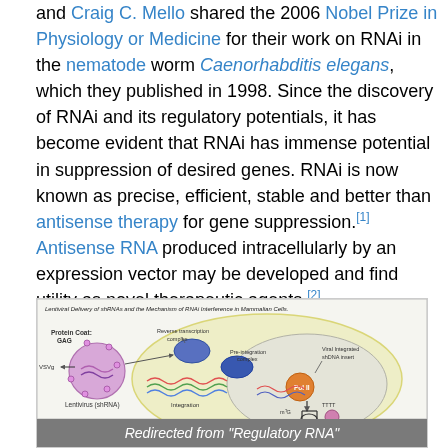and Craig C. Mello shared the 2006 Nobel Prize in Physiology or Medicine for their work on RNAi in the nematode worm Caenorhabditis elegans, which they published in 1998. Since the discovery of RNAi and its regulatory potentials, it has become evident that RNAi has immense potential in suppression of desired genes. RNAi is now known as precise, efficient, stable and better than antisense therapy for gene suppression.[1] Antisense RNA produced intracellularly by an expression vector may be developed and find utility as novel therapeutic agents.[2]
[Figure (schematic): Diagram titled 'Lentiviral Delivery of shRNAs and the Mechanism of RNAi Interference in Mammalian Cells.' showing a lentivirus (shRNA) with Protein Coat GAG and VSVg on the left, entering a cell and going through reverse transcription complex, pre-integration complex, viral integrated shDNA insert in the nucleus (Pol II), integration, and transcription to produce shRNA with a hairpin. Redirected from 'Regulatory RNA' shown at the bottom.]